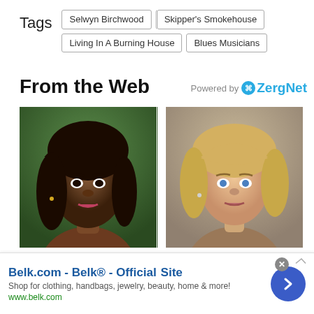Tags
Selwyn Birchwood
Skipper's Smokehouse
Living In A Burning House
Blues Musicians
From the Web
Powered by ZergNet
[Figure (photo): Close-up photo of a young dark-skinned woman with wavy hair]
[Figure (photo): Close-up photo of a blonde woman with short hair looking upward]
The Truth About Sasha Obama Is No Big Secret
Heche Was Under The Influence Of Very Hard
Belk.com - Belk® - Official Site
Shop for clothing, handbags, jewelry, beauty, home & more!
www.belk.com